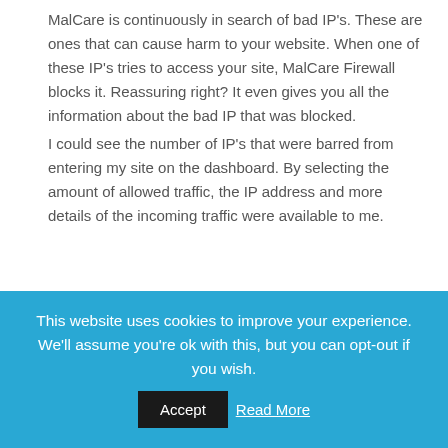MalCare is continuously in search of bad IP's. These are ones that can cause harm to your website. When one of these IP's tries to access your site, MalCare Firewall blocks it. Reassuring right? It even gives you all the information about the bad IP that was blocked. I could see the number of IP's that were barred from entering my site on the dashboard. By selecting the amount of allowed traffic, the IP address and more details of the incoming traffic were available to me.
[Figure (screenshot): Screenshot of a dashboard logs page showing 'All Good Things > Logs' header with Traffic and Login tabs]
This website uses cookies to improve your experience. We'll assume you're ok with this, but you can opt-out if you wish. Accept Read More